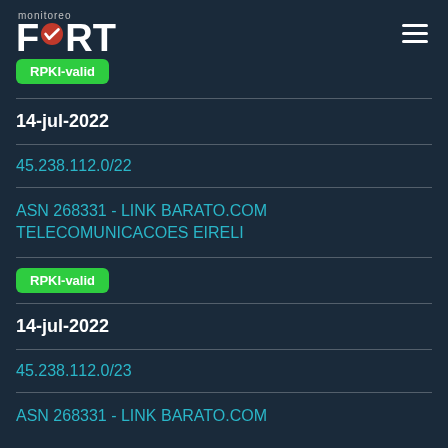FORT monitoreo
RPKI-valid (badge, cut off at top)
14-jul-2022
45.238.112.0/22
ASN 268331 - LINK BARATO.COM TELECOMUNICACOES EIRELI
RPKI-valid
14-jul-2022
45.238.112.0/23
ASN 268331 - LINK BARATO.COM